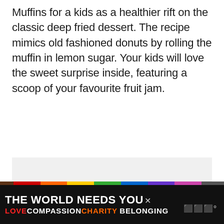Muffins for a kids as a healthier rift on the classic deep fried dessert. The recipe mimics old fashioned donuts by rolling the muffin in lemon sugar. Your kids will love the sweet surprise inside, featuring a scoop of your favourite fruit jam.
[Figure (photo): Light gray placeholder image area]
[Figure (infographic): Advertisement banner: 'THE WORLD NEEDS YOU' with rainbow bar and text 'LOVE COMPASSION CHARITY BELONGING' on dark background]